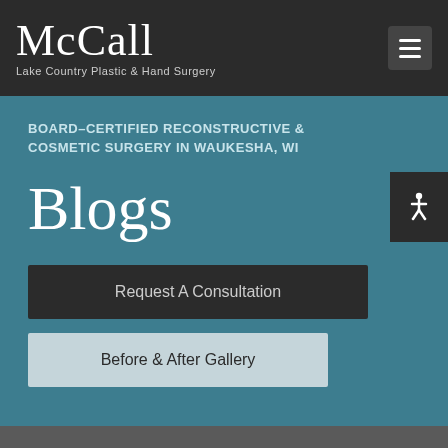McCall Lake Country Plastic & Hand Surgery
BOARD-CERTIFIED RECONSTRUCTIVE & COSMETIC SURGERY IN WAUKESHA, WI
Blogs
Request A Consultation
Before & After Gallery